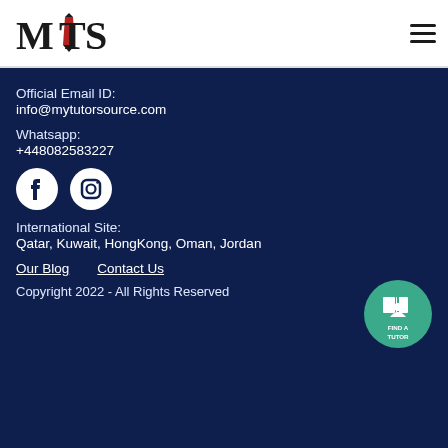[Figure (logo): MTS (MyTutorSource) logo with pen icon]
[Figure (other): Hamburger menu icon (three horizontal lines)]
Official Email ID:
info@mytutorsource.com
Whatsapp:
+448082583227
[Figure (other): Facebook circle icon and Instagram circle icon]
International Site:
Qatar, Kuwait, HongKong, Oman, Jordan
[Figure (other): Find a Tutor circular button with book/person icon]
Our Blog    Contact Us
Copyright 2022 - All Rights Reserved